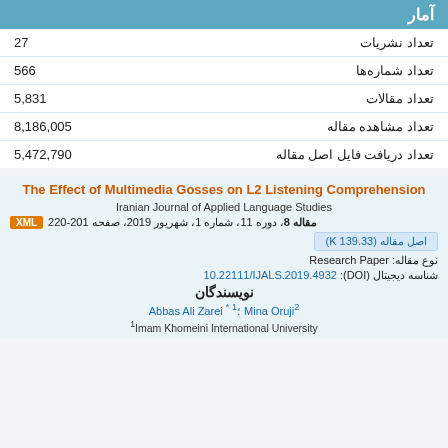آمار
| label | value |
| --- | --- |
| تعداد نشریات | 27 |
| تعداد شماره‌ها | 566 |
| تعداد مقالات | 5,831 |
| تعداد مشاهده مقاله | 8,186,005 |
| تعداد دریافت فایل اصل مقاله | 5,472,790 |
The Effect of Multimedia Gosses on L2 Listening Comprehension
Iranian Journal of Applied Language Studies
مقاله 8، دوره 11، شماره 1، شهریور 2019، صفحه 201-220
اصل مقاله (139.33 K)
نوع مقاله: Research Paper
شناسه دیجیتال (DOI): 10.22111/IJALS.2019.4932
نویسندگان
Abbas Ali Zarei *1؛ Mina Oruji2
1Imam Khomeini International University